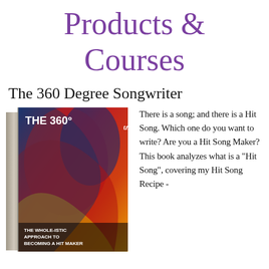Products & Courses
The 360 Degree Songwriter
[Figure (photo): Book cover of 'The 360° Songwriter: The Whole-istic Approach to Becoming a Hit Maker' with colorful artistic cover featuring red, blue and yellow design with a figure.]
There is a song; and there is a Hit Song. Which one do you want to write? Are you a Hit Song Maker? This book analyzes what is a "Hit Song", covering my Hit Song Recipe -